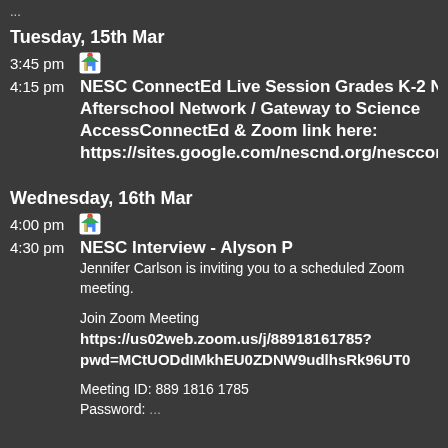(cropped top — partial text visible)
Tuesday, 15th Mar
3:45 pm [Google Maps icon]
4:15 pm  NESC ConnectEd Live Session Grades K-2 ND Afterschool Network / Gateway to Science AccessConnectEd & Zoom link here: https://sites.google.com/nescnd.org/nescconnect…
Wednesday, 16th Mar
4:00 pm [Google Maps icon]
4:30 pm  NESC Interview - Alyson P
Jennifer Carlson is inviting you to a scheduled Zoom meeting.

Join Zoom Meeting
https://us02web.zoom.us/j/88918161785?pwd=MCtUODdIMkhEU0ZDNW9udlhsRk96UT0

Meeting ID: 889 1816 1785
Password: (partial)